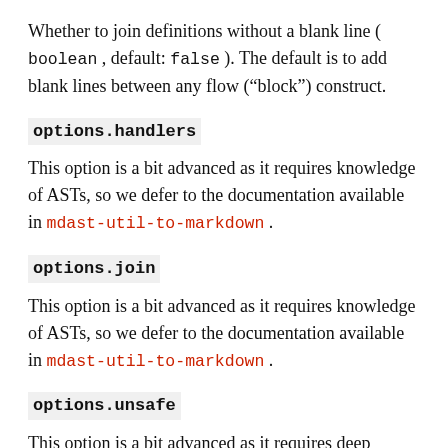Whether to join definitions without a blank line ( boolean , default: false ). The default is to add blank lines between any flow (“block”) construct.
options.handlers
This option is a bit advanced as it requires knowledge of ASTs, so we defer to the documentation available in mdast-util-to-markdown .
options.join
This option is a bit advanced as it requires knowledge of ASTs, so we defer to the documentation available in mdast-util-to-markdown .
options.unsafe
This option is a bit advanced as it requires deep knowledge of markdown, so we defer to the